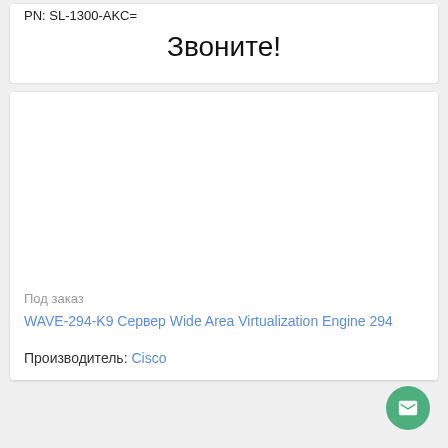PN: SL-1300-AKC=
Звоните!
[Figure (other): Empty white product image area]
Под заказ
WAVE-294-K9 Сервер Wide Area Virtualization Engine 294
Производитель: Cisco